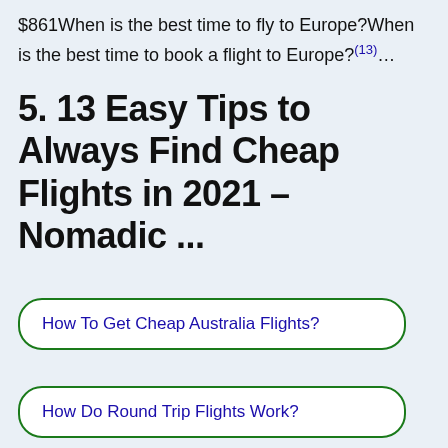$861When is the best time to fly to Europe?When is the best time to book a flight to Europe?(13)…
5. 13 Easy Tips to Always Find Cheap Flights in 2021 – Nomadic ...
How To Get Cheap Australia Flights?
How Do Round Trip Flights Work?
Madrid Vs barcelona Travel